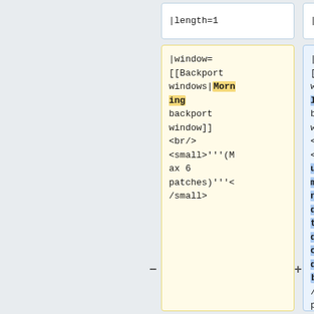|length=1
|length=1
|window=[[Backport windows|Morning backport window]]<br/><small>'''(Max 6 patches)'''</small>
|window=[[Backport windows|UTC late backport window]]<br/><small>'''Your patch may or may not be deployed at the sole discretion of the deployer'''<br />'''(Max 6 patches)'''<